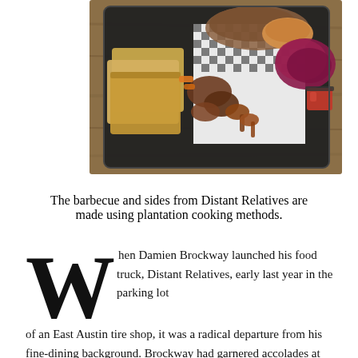[Figure (photo): Overhead view of a barbecue tray with bread slices, smoked meats, coleslaw, and a small cup of sauce on a wooden table.]
The barbecue and sides from Distant Relatives are made using plantation cooking methods.
When Damien Brockway launched his food truck, Distant Relatives, early last year in the parking lot of an East Austin tire shop, it was a radical departure from his fine-dining background. Brockway had garnered accolades at Austin